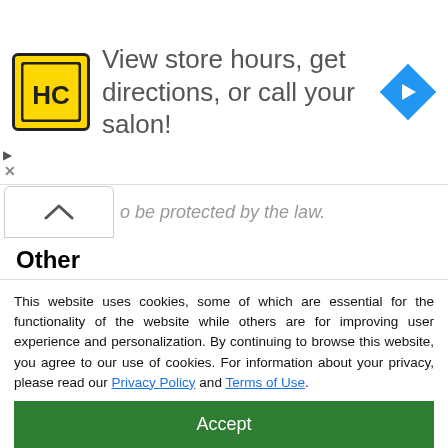[Figure (infographic): Advertisement banner: HC salon logo (yellow square with HC letters), text 'View store hours, get directions, or call your salon!', blue navigation arrow icon on the right]
o be protected by the law.
Other
Keep important documents you brought from your home country in a safe place. These documents include your passport; birth, marriage, or divorce certificate; diplomas
This website uses cookies, some of which are essential for the functionality of the website while others are for improving user experience and personalization. By continuing to browse this website, you agree to our use of cookies. For information about your privacy, please read our Privacy Policy and Terms of Use.
Accept